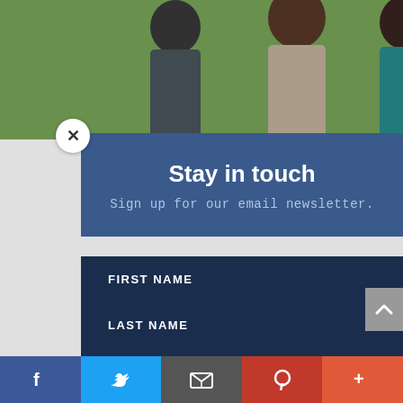[Figure (photo): Group photo of three people (two women and a man) outdoors, partially visible at top of page]
Stay in touch
Sign up for our email newsletter.
FIRST NAME
LAST NAME
EMAIL
Add me to your mailing list
[Figure (infographic): Social media sharing bar at bottom with Facebook (blue), Twitter (sky blue), Email (gray), Pinterest (red), and More (orange-red) icons]